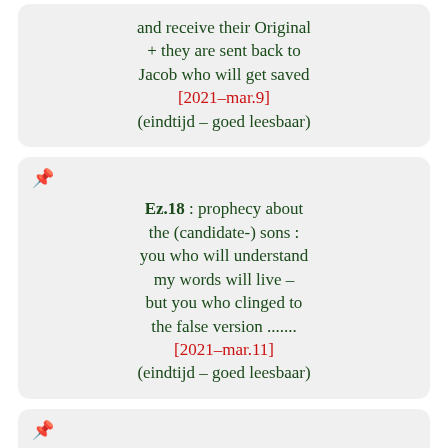and receive their Original + they are sent back to Jacob who will get saved [2021-mar.9] (eindtijd – goed leesbaar)
Ez.18 : prophecy about the (candidate-) sons : you who will understand my words will live – but you who clinged to the false version ....... [2021-mar.11] (eindtijd – goed leesbaar)
Ez.12 : very positive chapter about you + we as 144,000